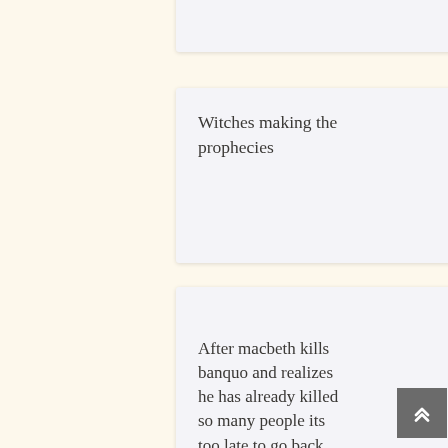Witches making the prophecies
What is the inciting force
After macbeth kills banquo and realizes he has already killed so many people its too late to go back now
What is the turning point of the play
Hamartia
What is tragic flaw